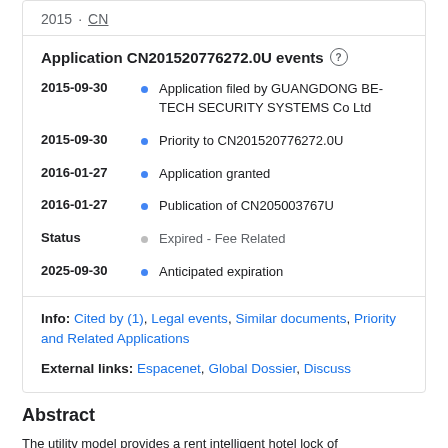2015 · CN
Application CN201520776272.0U events
2015-09-30 · Application filed by GUANGDONG BE-TECH SECURITY SYSTEMS Co Ltd
2015-09-30 · Priority to CN201520776272.0U
2016-01-27 · Application granted
2016-01-27 · Publication of CN205003767U
Status · Expired - Fee Related
2025-09-30 · Anticipated expiration
Info: Cited by (1), Legal events, Similar documents, Priority and Related Applications
External links: Espacenet, Global Dossier, Discuss
Abstract
The utility model provides a rent intelligent hotel lock of